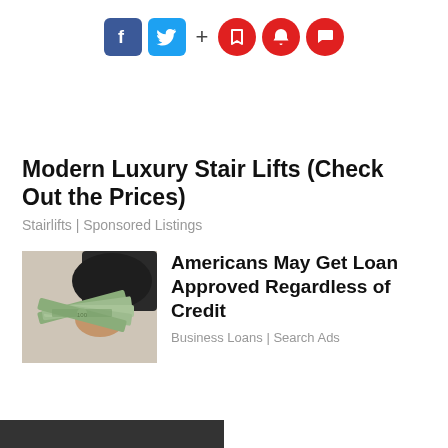[Figure (other): Social media sharing bar with Facebook (blue square), Twitter (blue square), plus sign, and three red circle icons (bookmark, bell, chat)]
Modern Luxury Stair Lifts (Check Out the Prices)
Stairlifts | Sponsored Listings
[Figure (photo): A hand holding out a fan of US dollar bills against a light background]
Americans May Get Loan Approved Regardless of Credit
Business Loans | Search Ads